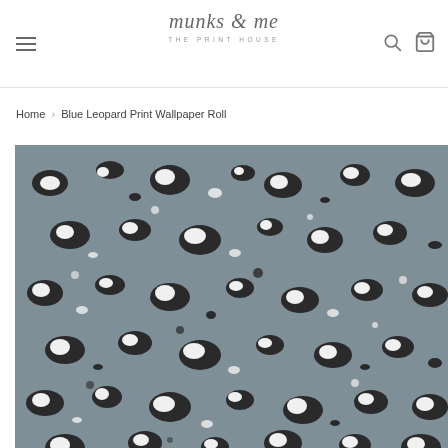munks & me THE PRINT HOUSE
Home › Blue Leopard Print Wallpaper Roll
[Figure (photo): Blue/grey leopard print wallpaper roll product image showing a repeating pattern of black and white leopard spots on a grey-blue background.]